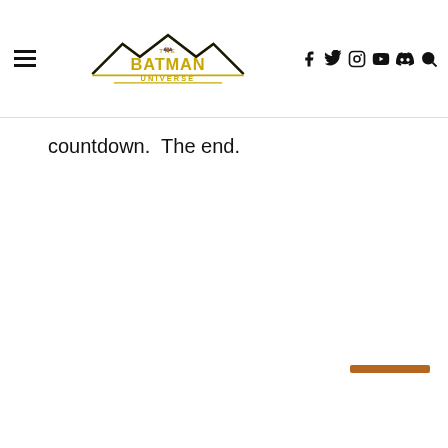The Batman Universe
countdown.  The end.